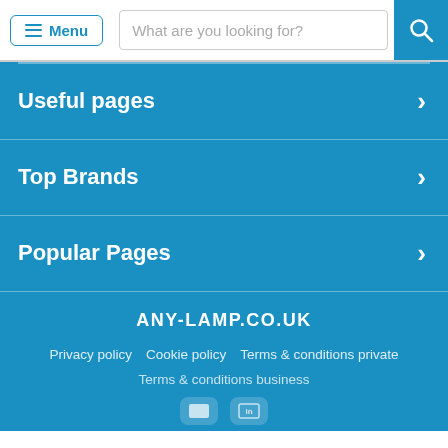Menu | What are you looking for?
Useful pages
Top Brands
Popular Pages
ANY-LAMP.CO.UK
Privacy policy   Cookie policy   Terms & conditions private
Terms & conditions business